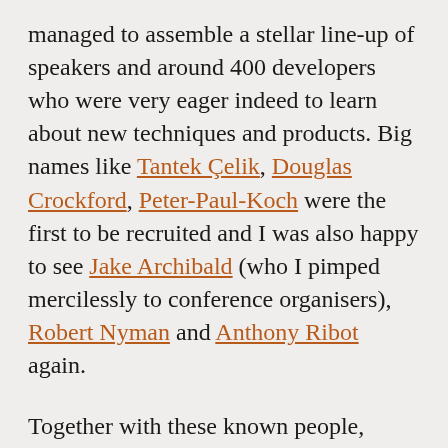managed to assemble a stellar line-up of speakers and around 400 developers who were very eager indeed to learn about new techniques and products. Big names like Tantek Çelik, Douglas Crockford, Peter-Paul-Koch were the first to be recruited and I was also happy to see Jake Archibald (who I pimped mercilessly to conference organisers), Robert Nyman and Anthony Ribot again.
Together with these known people, Fronttrends took the daring move to have 8 speakers who gave their first talk ever at conferences. I do very much applaud the organisers for that and I managed to spot some very interesting new talents who I am sure I will see much more of – check out the